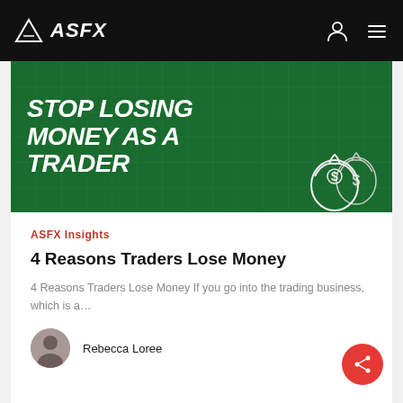ASFX
[Figure (illustration): Green banner image with bold white italic text reading 'STOP LOSING MONEY AS A TRADER' with money bag illustrations on a dark green background with digital circuit pattern]
ASFX Insights
4 Reasons Traders Lose Money
4 Reasons Traders Lose Money If you go into the trading business, which is a…
Rebecca Loree